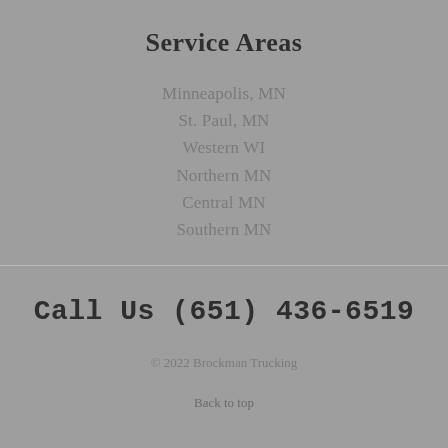Service Areas
Minneapolis, MN
St. Paul, MN
Western WI
Northern MN
Central MN
Southern MN
Call Us (651) 436-6519
© 2022 Brockman Trucking
Back to top